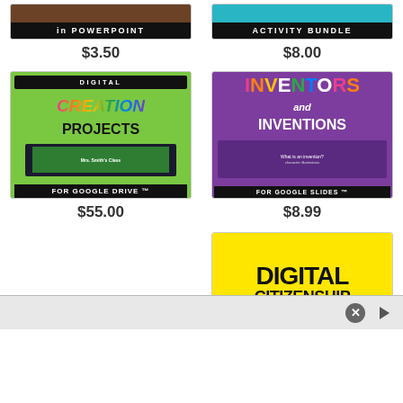[Figure (screenshot): Top-left product thumbnail: 'in POWERPOINT' banner on dark background]
$3.50
[Figure (screenshot): Top-right product thumbnail: 'ACTIVITY BUNDLE' banner on teal background]
$8.00
[Figure (screenshot): Digital Creation Projects for Google Drive product thumbnail with green background, colorful text, laptop image]
$55.00
[Figure (screenshot): Inventors and Inventions for Google Slides product thumbnail with purple background, colorful title text, character illustrations]
$8.99
[Figure (screenshot): Digital Citizenship product thumbnail with bright yellow background, bold black text, multicolor dots border]
[Figure (screenshot): Advertisement bar at bottom with close button (X) and play button icon]